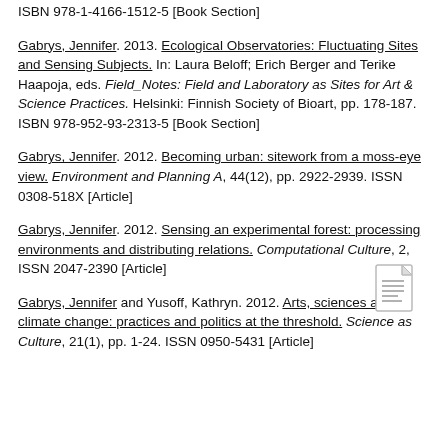ISBN 978-1-4166-1512-5 [Book Section]
Gabrys, Jennifer. 2013. Ecological Observatories: Fluctuating Sites and Sensing Subjects. In: Laura Beloff; Erich Berger and Terike Haapoja, eds. Field_Notes: Field and Laboratory as Sites for Art & Science Practices. Helsinki: Finnish Society of Bioart, pp. 178-187. ISBN 978-952-93-2313-5 [Book Section]
Gabrys, Jennifer. 2012. Becoming urban: sitework from a moss-eye view. Environment and Planning A, 44(12), pp. 2922-2939. ISSN 0308-518X [Article]
Gabrys, Jennifer. 2012. Sensing an experimental forest: processing environments and distributing relations. Computational Culture, 2, ISSN 2047-2390 [Article]
Gabrys, Jennifer and Yusoff, Kathryn. 2012. Arts, sciences and climate change: practices and politics at the threshold. Science as Culture, 21(1), pp. 1-24. ISSN 0950-5431 [Article]
[Figure (illustration): Document/file icon in lower right corner]